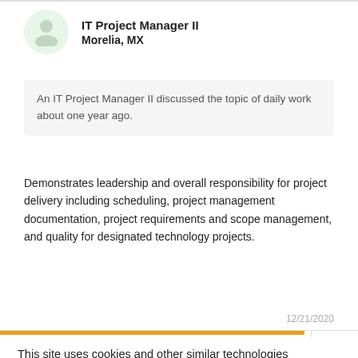IT Project Manager II
Morelia, MX
An IT Project Manager II discussed the topic of daily work about one year ago.
Demonstrates leadership and overall responsibility for project delivery including scheduling, project management documentation, project requirements and scope management, and quality for designated technology projects.
12/21/2020
This site uses cookies and other similar technologies to provide site functionality, analyze traffic and usage, and deliver content tailored to your interests. | Learn More
I Accept